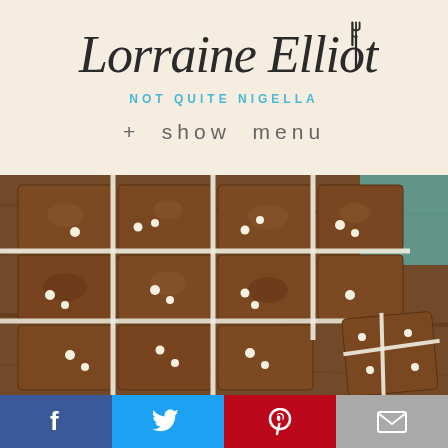[Figure (logo): Lorraine Elliott Not Quite Nigella logo with cursive text and fork icon on beige background]
+ show menu
[Figure (photo): Top-down photo of chocolate brownies cut into squares with white chocolate cross drizzle on a wooden board, one piece pulled out to the side]
[Figure (other): Social media footer bar with Facebook, Twitter, Pinterest, and Email icons]